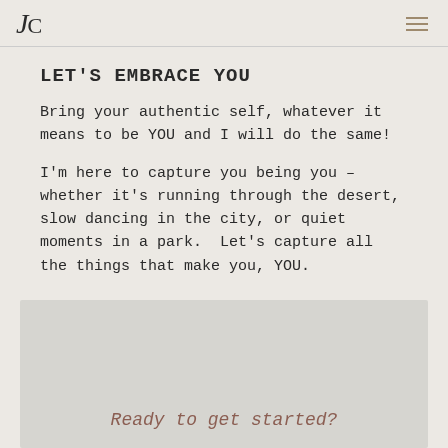JC
LET'S EMBRACE YOU
Bring your authentic self, whatever it means to be YOU and I will do the same!
I'm here to capture you being you – whether it's running through the desert, slow dancing in the city, or quiet moments in a park.  Let's capture all the things that make you, YOU.
Ready to get started?